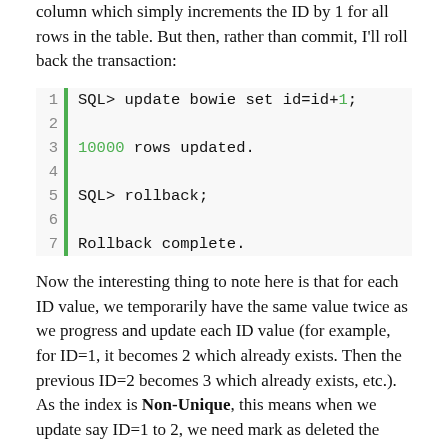column which simply increments the ID by 1 for all rows in the table. But then, rather than commit, I'll roll back the transaction:
Now the interesting thing to note here is that for each ID value, we temporarily have the same value twice as we progress and update each ID value (for example, for ID=1, it becomes 2 which already exists. Then the previous ID=2 becomes 3 which already exists, etc.). As the index is Non-Unique, this means when we update say ID=1 to 2, we need mark as deleted the index entry with ID=1 and insert a new index entry with an ID=2. When we